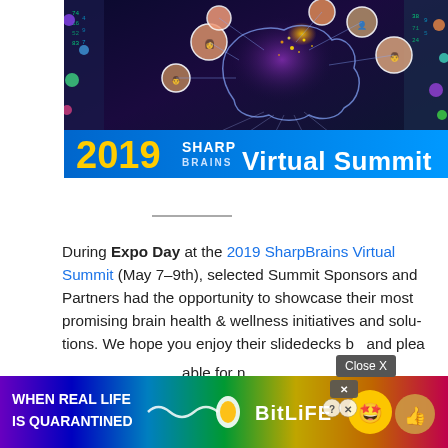[Figure (photo): 2019 SharpBrains Virtual Summit promotional banner image showing a glowing brain surrounded by bubbles with speaker headshots, with digital matrix background. Text reads: '2019 SHARP BRAINS Virtual Summit' on a blue banner at the bottom.]
During Expo Day at the 2019 SharpBrains Virtual Summit (May 7–9th), selected Summit Sponsors and Partners had the opportunity to showcase their most promising brain health & wellness initiatives and solutions. We hope you enjoy their slidedecks b[itlife ad overlay]and please[...] able for n[...]
[Figure (photo): BitLife mobile game advertisement overlay with rainbow background, text 'WHEN REAL LIFE IS QUARANTINED' and 'BitLife' title with emoji characters. Has a close X button.]